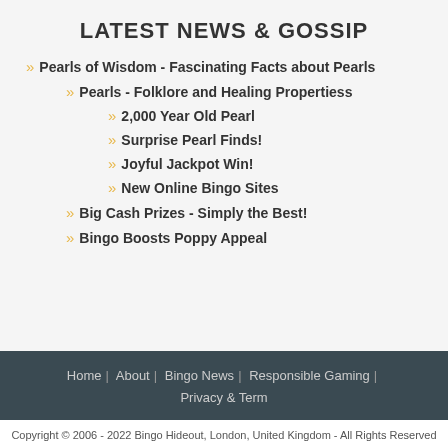LATEST NEWS & GOSSIP
Pearls of Wisdom - Fascinating Facts about Pearls
Pearls - Folklore and Healing Propertiess
2,000 Year Old Pearl
Surprise Pearl Finds!
Joyful Jackpot Win!
New Online Bingo Sites
Big Cash Prizes - Simply the Best!
Bingo Boosts Poppy Appeal
Home | About | Bingo News | Responsible Gaming | Privacy & Term
Copyright © 2006 - 2022 Bingo Hideout, London, United Kingdom - All Rights Reserved